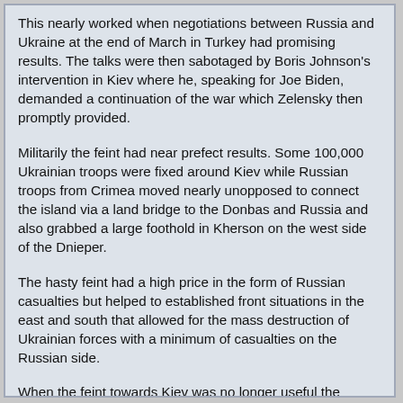This nearly worked when negotiations between Russia and Ukraine at the end of March in Turkey had promising results. The talks were then sabotaged by Boris Johnson's intervention in Kiev where he, speaking for Joe Biden, demanded a continuation of the war which Zelensky then promptly provided.
Militarily the feint had near prefect results. Some 100,000 Ukrainian troops were fixed around Kiev while Russian troops from Crimea moved nearly unopposed to connect the island via a land bridge to the Donbas and Russia and also grabbed a large foothold in Kherson on the west side of the Dnieper.
The hasty feint had a high price in the form of Russian casualties but helped to established front situations in the east and south that allowed for the mass destruction of Ukrainian forces with a minimum of casualties on the Russian side.
When the feint towards Kiev was no longer useful the Russian forces moved back to their starting positions without much fighting. The Ukrainian claimed that to be a victory but they had hardly anything to do with the well planned and executed retreat.